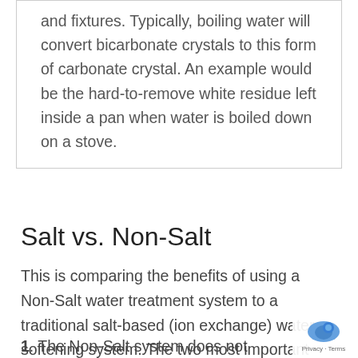and fixtures. Typically, boiling water will convert bicarbonate crystals to this form of carbonate crystal. An example would be the hard-to-remove white residue left inside a pan when water is boiled down on a stove.
Salt vs. Non-Salt
This is comparing the benefits of using a Non-Salt water treatment system to a traditional salt-based (ion exchange) water softening system. The two most important advantages to the Non-Salt system are:
1. The Non-Salt system does not require the addition of Sodium or Potassium Chloride to the water. Therefore